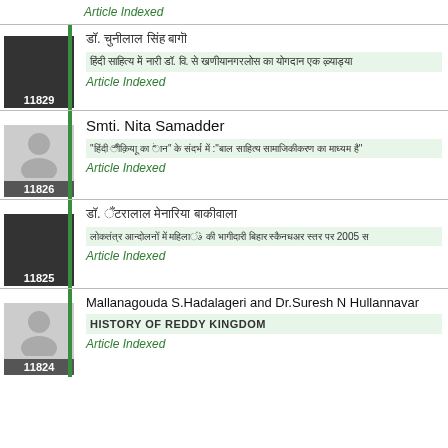Article Indexed
11829 - Hindi text author name
Hindi article title text
Article Indexed
Smti. Nita Samadder
11826
Hindi article title with quotes
Article Indexed
11825 - Hindi text author name
Hindi article title 2005
Article Indexed
Mallanagouda S.Hadalageri and Dr.Suresh N Hullannavar
11824
HISTORY OF REDDY KINGDOM
Article Indexed